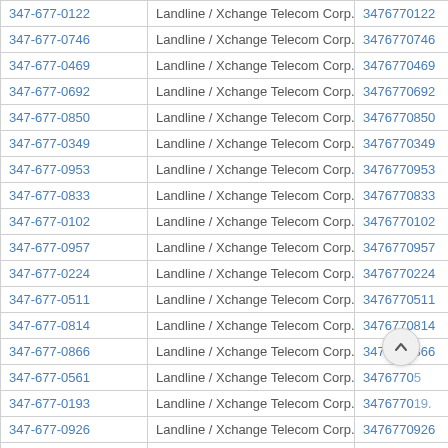| Phone | Type / Carrier | Number |  |
| --- | --- | --- | --- |
| 347-677-0122 | Landline / Xchange Telecom Corp. | 3476770122 | V |
| 347-677-0746 | Landline / Xchange Telecom Corp. | 3476770746 | V |
| 347-677-0469 | Landline / Xchange Telecom Corp. | 3476770469 | V |
| 347-677-0692 | Landline / Xchange Telecom Corp. | 3476770692 | V |
| 347-677-0850 | Landline / Xchange Telecom Corp. | 3476770850 | V |
| 347-677-0349 | Landline / Xchange Telecom Corp. | 3476770349 | V |
| 347-677-0953 | Landline / Xchange Telecom Corp. | 3476770953 | V |
| 347-677-0833 | Landline / Xchange Telecom Corp. | 3476770833 | V |
| 347-677-0102 | Landline / Xchange Telecom Corp. | 3476770102 | V |
| 347-677-0957 | Landline / Xchange Telecom Corp. | 3476770957 | V |
| 347-677-0224 | Landline / Xchange Telecom Corp. | 3476770224 | V |
| 347-677-0511 | Landline / Xchange Telecom Corp. | 3476770511 | V |
| 347-677-0814 | Landline / Xchange Telecom Corp. | 3476770814 | V |
| 347-677-0866 | Landline / Xchange Telecom Corp. | 3476770866 | V |
| 347-677-0561 | Landline / Xchange Telecom Corp. | 347677056 | V |
| 347-677-0193 | Landline / Xchange Telecom Corp. | 347677019. | V |
| 347-677-0926 | Landline / Xchange Telecom Corp. | 3476770926 | V |
| 347-677-0058 | Landline / Xchange Telecom Corp. | 3476770058 | V |